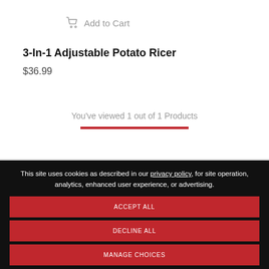Add to Cart
3-In-1 Adjustable Potato Ricer
$36.99
You've viewed 1 out of 1 Products
This site uses cookies as described in our privacy policy, for site operation, analytics, enhanced user experience, or advertising.
ACCEPT ALL
DECLINE ALL
MANAGE CHOICES